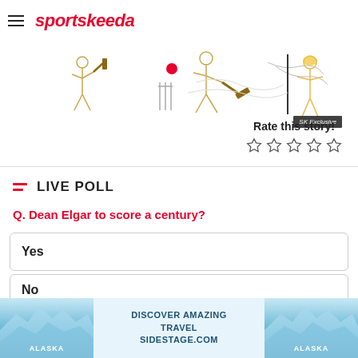sportskeeda
[Figure (illustration): Cricket illustration showing multiple cricket players in action poses (batting, bowling, wicket-keeping) in a line-art/sketch style with gold and color accents. SK Exclusive badge in bottom right corner.]
Rate this story!
LIVE POLL
Q. Dean Elgar to score a century?
Yes
No
[Figure (photo): Advertisement banner showing Alaska icy glacier landscape with text: DISCOVER AMAZING TRAVEL SIDESTAGE.COM]